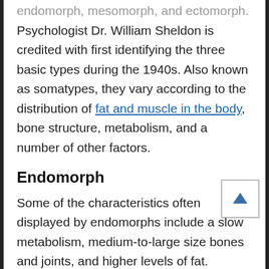endomorph, mesomorph, and ectomorph. Psychologist Dr. William Sheldon is credited with first identifying the three basic types during the 1940s. Also known as somatypes, they vary according to the distribution of fat and muscle in the body, bone structure, metabolism, and a number of other factors.
Endomorph
Some of the characteristics often displayed by endomorphs include a slow metabolism, medium-to-large size bones and joints, and higher levels of fat. Endomorphs also tend to have a smooth, round body that is characterized by an Apple or pear shape. If you